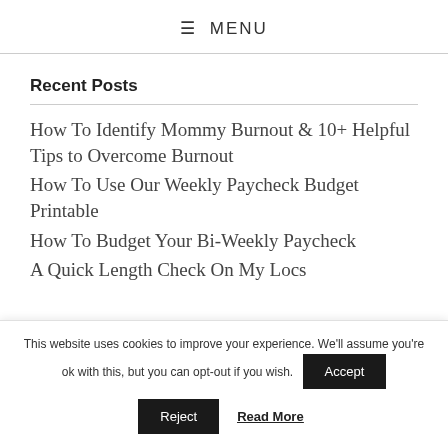≡ MENU
Recent Posts
How To Identify Mommy Burnout & 10+ Helpful Tips to Overcome Burnout
How To Use Our Weekly Paycheck Budget Printable
How To Budget Your Bi-Weekly Paycheck
A Quick Length Check On My Locs
This website uses cookies to improve your experience. We'll assume you're ok with this, but you can opt-out if you wish. Accept Reject Read More